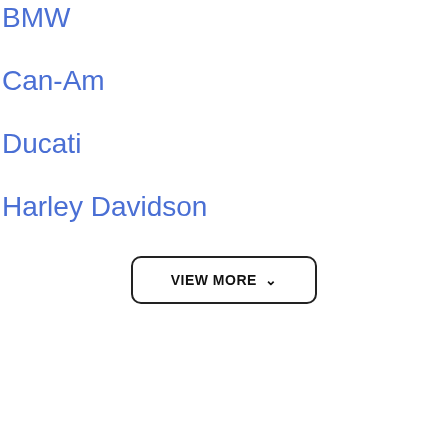BMW
Can-Am
Ducati
Harley Davidson
VIEW MORE